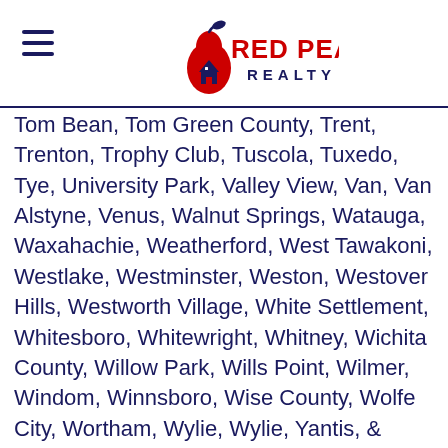Red Pear Realty
Tom Bean, Tom Green County, Trent, Trenton, Trophy Club, Tuscola, Tuxedo, Tye, University Park, Valley View, Van, Van Alstyne, Venus, Walnut Springs, Watauga, Waxahachie, Weatherford, West Tawakoni, Westlake, Westminster, Weston, Westover Hills, Westworth Village, White Settlement, Whitesboro, Whitewright, Whitney, Wichita County, Willow Park, Wills Point, Wilmer, Windom, Winnsboro, Wise County, Wolfe City, Wortham, Wylie, Wylie, Yantis, & Young County
Houston
Ace, Algoa, Alief, Alleyton, Altair, Alvin, Ames, Anahuac, Angelina County, Atascocita, Austin County, Bacliff, Barker, Barrett, Bay Harbor, Bay View, Bayou Vista, Baytown, Beach, Beach City, Beasley, Bedias, Bellaire, Bellville, Blaiblairsville,